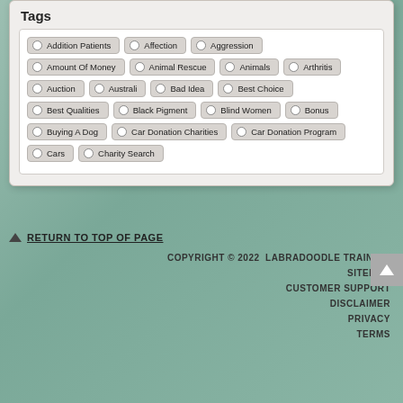Tags
Addition Patients
Affection
Aggression
Amount Of Money
Animal Rescue
Animals
Arthritis
Auction
Australi
Bad Idea
Best Choice
Best Qualities
Black Pigment
Blind Women
Bonus
Buying A Dog
Car Donation Charities
Car Donation Program
Cars
Charity Search
RETURN TO TOP OF PAGE
COPYRIGHT © 2022  LABRADOODLE TRAINING
SITEMAP
CUSTOMER SUPPORT
DISCLAIMER
PRIVACY
TERMS